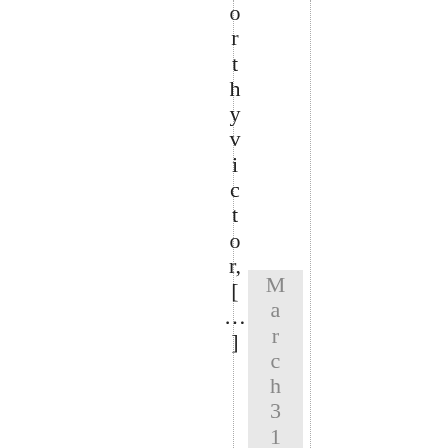orthy victor, [ ... ]
March 31 st, 200